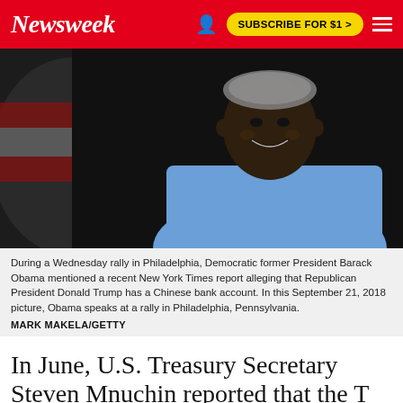Newsweek | SUBSCRIBE FOR $1 >
[Figure (photo): Barack Obama smiling at a rally, wearing a light blue shirt, with an American flag in the background]
During a Wednesday rally in Philadelphia, Democratic former President Barack Obama mentioned a recent New York Times report alleging that Republican President Donald Trump has a Chinese bank account. In this September 21, 2018 picture, Obama speaks at a rally in Philadelphia, Pennsylvania.
MARK MAKELA/GETTY
In June, U.S. Treasury Secretary Steven Mnuchin reported that the T